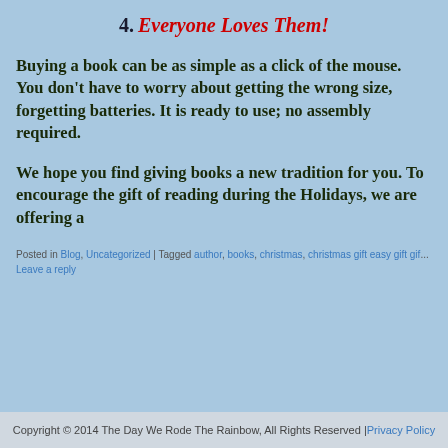4. Everyone Loves Them!
Buying a book can be as simple as a click of the mouse. You don't have to worry about getting the wrong size, forgetting batteries. It is ready to use; no assembly required.
We hope you find giving books a new tradition for your family. To encourage the gift of reading during the Holidays, we are offering a
Posted in Blog, Uncategorized | Tagged author, books, christmas, christmas gift easy gift gif... Leave a reply
Copyright © 2014 The Day We Rode The Rainbow, All Rights Reserved | Privacy Policy